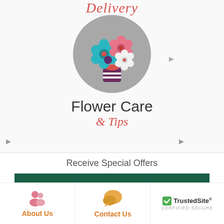Delivery
[Figure (illustration): Gray circle with flat-design flower bouquet icon - colorful flowers (teal, pink, white, red, purple) with a wrapped stem]
Flower Care
& Tips
Receive Special Offers
Sign Up Now ▶
[Figure (illustration): Pink people/users icon representing About Us]
About Us
[Figure (illustration): Orange/gold chat bubble icon representing Contact Us]
Contact Us
[Figure (logo): TrustedSite certified secure badge with green checkmark]
TrustedSite CERTIFIED SECURE